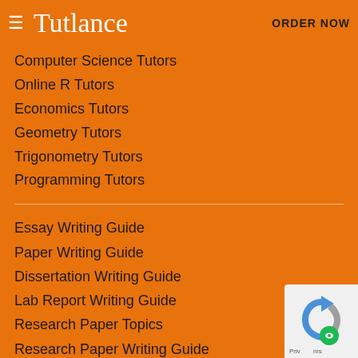Tutlance | ORDER NOW
Computer Science Tutors
Online R Tutors
Economics Tutors
Geometry Tutors
Trigonometry Tutors
Programming Tutors
Essay Writing Guide
Paper Writing Guide
Dissertation Writing Guide
Lab Report Writing Guide
Research Paper Topics
Research Paper Writing Guide
Argumentative Essay Guide
Analytical Essay Guide
[Figure (logo): reCAPTCHA badge with Google logo]